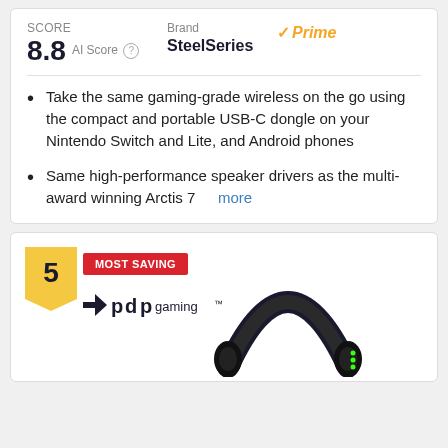SCORE
8.8 AI Score
Brand
SteelSeries
Prime
Take the same gaming-grade wireless on the go using the compact and portable USB-C dongle on your Nintendo Switch and Lite, and Android phones
Same high-performance speaker drivers as the multi-award winning Arctis 7  more
5
MOST SAVING
[Figure (logo): PDP gaming logo]
[Figure (photo): Black gaming headset partially visible]